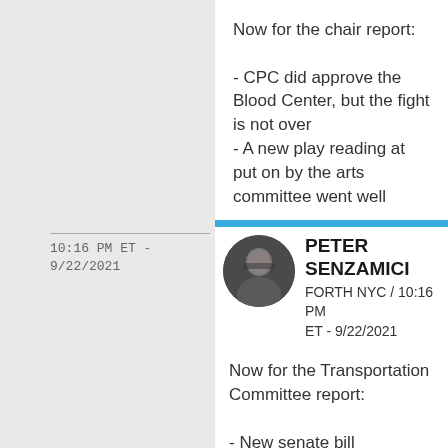Now for the chair report:

- CPC did approve the Blood Center, but the fight is not over
- A new play reading at put on by the arts committee went well
10:16 PM ET - 9/22/2021
PETER SENZAMICI
FORTH NYC / 10:16 PM ET - 9/22/2021
Now for the Transportation Committee report:

- New senate bill introduced by Sen. Liz Kruger that imposes similar penalties for e-